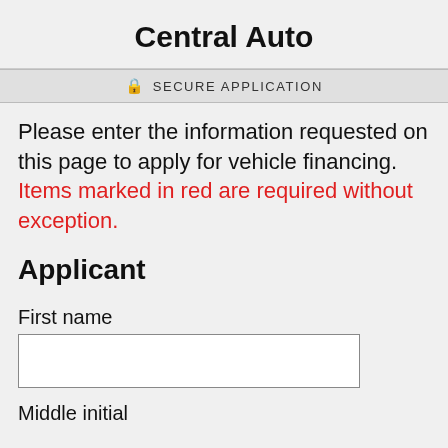Central Auto
SECURE APPLICATION
Please enter the information requested on this page to apply for vehicle financing. Items marked in red are required without exception.
Applicant
First name
Middle initial